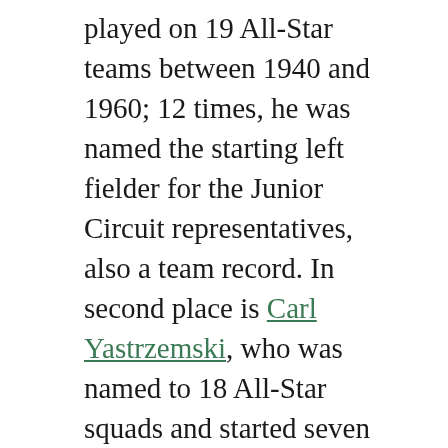played on 19 All-Star teams between 1940 and 1960; 12 times, he was named the starting left fielder for the Junior Circuit representatives, also a team record. In second place is Carl Yastrzemski, who was named to 18 All-Star squads and started seven games at three different positions; left field, center field, and first base. Bobby Doerr is third with nine appearances and five starting roles, while Wade Boggs and Jim Rice each represented Boston eight times, Boggs starting seven times at third base and Rice starting four times in the outfield.
With regards to the number of All-Stars named from Boston in a given season, the 1946 squad